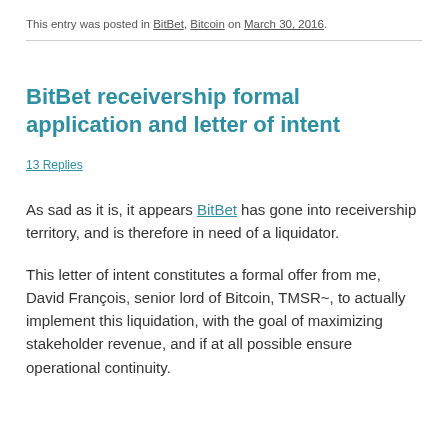This entry was posted in BitBet, Bitcoin on March 30, 2016.
BitBet receivership formal application and letter of intent
13 Replies
As sad as it is, it appears BitBet has gone into receivership territory, and is therefore in need of a liquidator.
This letter of intent constitutes a formal offer from me, David François, senior lord of Bitcoin, TMSR~, to actually implement this liquidation, with the goal of maximizing stakeholder revenue, and if at all possible ensure operational continuity.